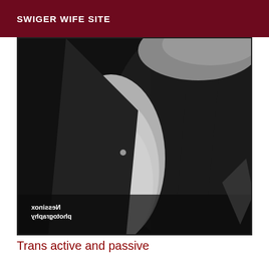SWIGER WIFE SITE
[Figure (photo): Black and white close-up photograph of a person in a dark jacket with an open shirt, chest visible, blonde hair. Watermark text 'Nessinox photography' mirrored/reversed in lower right corner.]
Trans active and passive